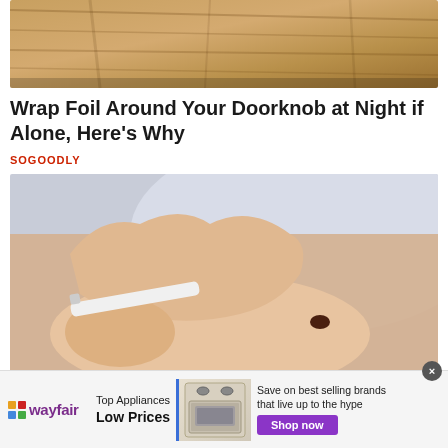[Figure (photo): Top portion of a wooden door with golden/brown wood grain texture, partially cropped]
Wrap Foil Around Your Doorknob at Night if Alone, Here's Why
SOGOODLY
[Figure (photo): A hand holding a pen or marker near a small dark mole on someone's skin, close-up medical/dermatology style photo]
[Figure (infographic): Wayfair advertisement banner: Top Appliances Low Prices, Save on best selling brands that live up to the hype, Shop now button, image of a kitchen range/stove]